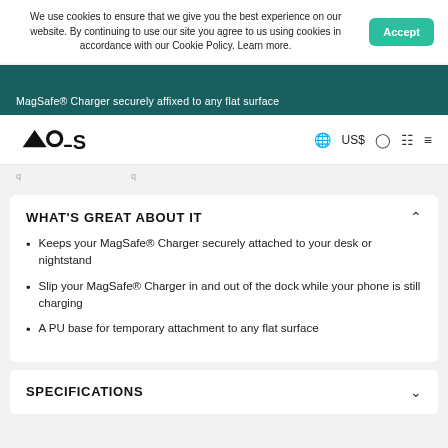We use cookies to ensure that we give you the best experience on our website. By continuing to use our site you agree to us using cookies in accordance with our Cookie Policy. Learn more.
Accept
MagSafe® Charger securely affixed to any flat surface
[Figure (logo): MOUS brand logo in black]
🌐 US$
WHAT'S GREAT ABOUT IT
Keeps your MagSafe® Charger securely attached to your desk or nightstand
Slip your MagSafe® Charger in and out of the dock while your phone is still charging
A PU base for temporary attachment to any flat surface
SPECIFICATIONS